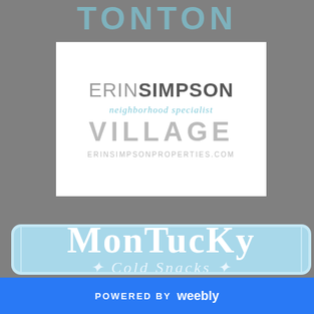[Figure (logo): Partial top banner logo in light blue/teal text on grey background, partially cut off]
[Figure (logo): Erin Simpson neighborhood specialist Village real estate logo card on white background. Text: ERIN SIMPSON, neighborhood specialist, VILLAGE, ERINSIMPSONPROPERTIES.COM]
[Figure (logo): Montucky Cold Snacks logo on light blue background with rounded rectangle border]
POWERED BY weebly